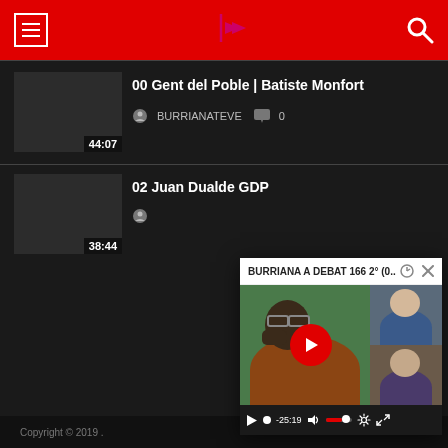[Figure (screenshot): Red website header with hamburger menu icon on the left, pink double-arrow logo in the center, and search icon on the right]
[Figure (screenshot): Video thumbnail (dark gray) with duration 44:07 for '00 Gent del Poble | Batiste Monfort']
00 Gent del Poble | Batiste Monfort
BURRIANATEVE  0
[Figure (screenshot): Video thumbnail (dark gray) with duration 38:44 for '02 Juan Dualde GDP']
02 Juan Dualde GDP
[Figure (screenshot): Popup video player showing 'BURRIANA A DEBAT 166 2° (0...' with a video of people in a video call, play button, and controls showing -25:19]
Copyright © 2019 .